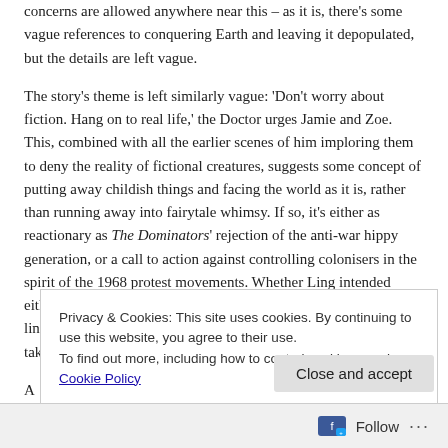concerns are allowed anywhere near this – as it is, there's some vague references to conquering Earth and leaving it depopulated, but the details are left vague.

The story's theme is left similarly vague: 'Don't worry about fiction. Hang on to real life,' the Doctor urges Jamie and Zoe. This, combined with all the earlier scenes of him imploring them to deny the reality of fictional creatures, suggests some concept of putting away childish things and facing the world as it is, rather than running away into fairytale whimsy. If so, it's either as reactionary as The Dominators' rejection of the anti-war hippy generation, or a call to action against controlling colonisers in the spirit of the 1968 protest movements. Whether Ling intended either reading, or whether I'm reading too much into a handful of lines is debateable. Perhaps the only message in the end is not to take any fiction t...
Privacy & Cookies: This site uses cookies. By continuing to use this website, you agree to their use.
To find out more, including how to control cookies, see here: Cookie Policy
Close and accept
Follow